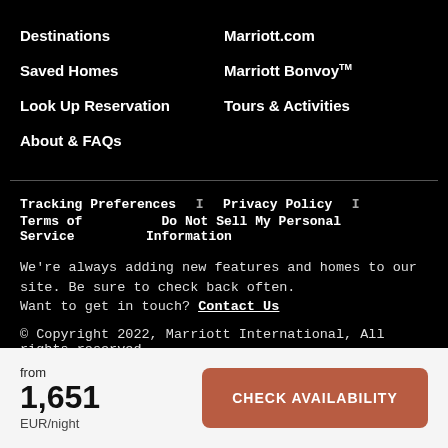Destinations
Marriott.com
Saved Homes
Marriott Bonvoy™
Look Up Reservation
Tours & Activities
About & FAQs
Tracking Preferences  I  Privacy Policy  I  Terms of Service  Do Not Sell My Personal Information
We're always adding new features and homes to our site. Be sure to check back often.
Want to get in touch? Contact Us
© Copyright 2022, Marriott International, All rights reserved.
from
1,651
EUR/night
CHECK AVAILABILITY